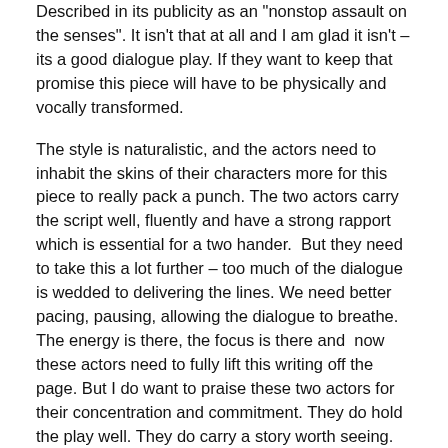Described in its publicity as an "nonstop assault on the senses". It isn't that at all and I am glad it isn't – its a good dialogue play. If they want to keep that promise this piece will have to be physically and vocally transformed.
The style is naturalistic, and the actors need to inhabit the skins of their characters more for this piece to really pack a punch. The two actors carry the script well, fluently and have a strong rapport which is essential for a two hander.  But they need to take this a lot further – too much of the dialogue is wedded to delivering the lines. We need better pacing, pausing, allowing the dialogue to breathe. The energy is there, the focus is there and  now these actors need to fully lift this writing off the page. But I do want to praise these two actors for their concentration and commitment. They do hold the play well. They do carry a story worth seeing.
Exploring the "get wasted, sort out our shit tomorrow" generation, this play offers us a window on a world, a couch surfing, blogging and drug-dealing world where young people are always strategising what comes next – shit pay, basic tips, free food and a place to stay.
Overall I recommend this as a solid bit of younger theatre that's